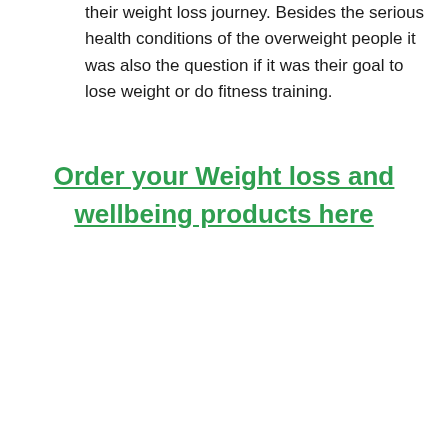their weight loss journey. Besides the serious health conditions of the overweight people it was also the question if it was their goal to lose weight or do fitness training.
Order your Weight loss and wellbeing products here